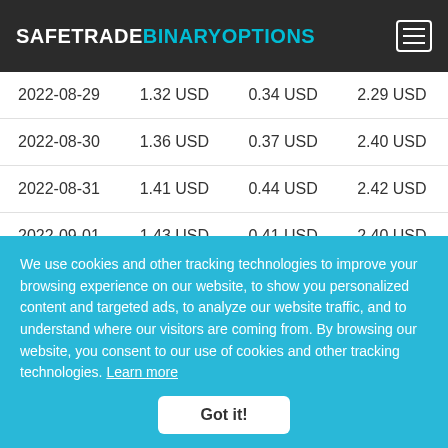SAFETRADEBINARYOPTIONS
| 2022-08-29 | 1.32 USD | 0.34 USD | 2.29 USD |
| 2022-08-30 | 1.36 USD | 0.37 USD | 2.40 USD |
| 2022-08-31 | 1.41 USD | 0.44 USD | 2.42 USD |
| 2022-09-01 | 1.43 USD | 0.41 USD | 2.40 USD |
| 2022-09-02 | 1.45 USD | 0.41 USD | 2.42 USD |
We use cookies and other tracking technologies to improve your browsing experience on our website, to show you personalized content and targeted ads, to analyze our website traffic, and to understand where our visitors are coming from. By browsing our website, you consent to our use of cookies and other tracking technologies. Learn more